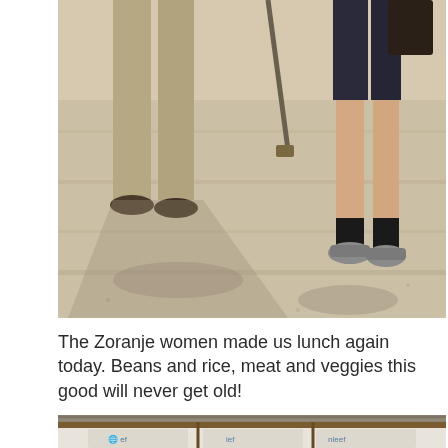[Figure (photo): Outdoor scene showing people standing on sandy/gravelly ground. Visible are legs and lower bodies: one person in khaki pants with dark shoes, another in dark shorts with black socks and gray sneakers holding a dark object. A shovel or tool is visible in the background. The ground is light-colored gritty sand with shadows cast by the figures.]
The Zoranje women made us lunch again today. Beans and rice, meat and veggies this good will never get old!
[Figure (photo): Interior of a structure with a corrugated metal roof and wooden beams. Large white plastic bags or tarps with blue UNICEF logos are visible along the walls.]